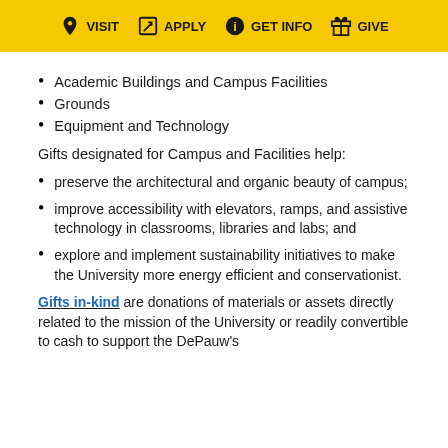VISIT  APPLY  GET INFO  GIVE
Academic Buildings and Campus Facilities
Grounds
Equipment and Technology
Gifts designated for Campus and Facilities help:
preserve the architectural and organic beauty of campus;
improve accessibility with elevators, ramps, and assistive technology in classrooms, libraries and labs; and
explore and implement sustainability initiatives to make the University more energy efficient and conservationist.
Gifts in-kind are donations of materials or assets directly related to the mission of the University or readily convertible to cash to support the DePauw's